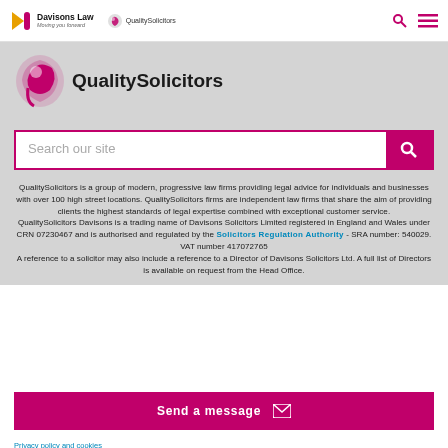Davisons Law / QualitySolicitors
[Figure (logo): QualitySolicitors logo with pink swirl icon and bold text 'QualitySolicitors']
[Figure (other): Search bar with placeholder 'Search our site' and pink search button]
QualitySolicitors is a group of modern, progressive law firms providing legal advice for individuals and businesses with over 100 high street locations. QualitySolicitors firms are independent law firms that share the aim of providing clients the highest standards of legal expertise combined with exceptional customer service. QualitySolicitors Davisons is a trading name of Davisons Solicitors Limited registered in England and Wales under CRN 07230467 and is authorised and regulated by the Solicitors Regulation Authority - SRA number: 540029. VAT number 417072765 A reference to a solicitor may also include a reference to a Director of Davisons Solicitors Ltd. A full list of Directors is available on request from the Head Office.
Send a message
Privacy policy and cookies